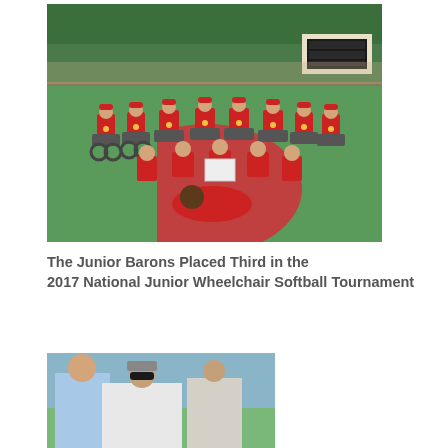[Figure (photo): Group photo of the Junior Barons wheelchair softball team on a sports court. Players wearing red shirts and caps are seated in wheelchairs arranged in rows on a green and red court, with trees and a scoreboard visible in the background.]
The Junior Barons Placed Third in the 2017 National Junior Wheelchair Softball Tournament
[Figure (photo): Partial photo showing two people outdoors, one wearing a light blue shirt and another wearing sunglasses, cropped at the bottom of the page.]